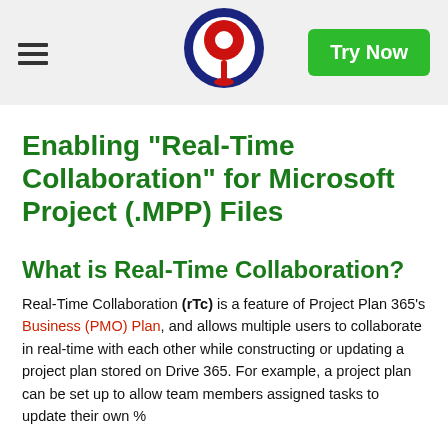Try Now
Enabling "Real-Time Collaboration" for Microsoft Project (.MPP) Files
What is Real-Time Collaboration?
Real-Time Collaboration (rTc) is a feature of Project Plan 365's Business (PMO) Plan, and allows multiple users to collaborate in real-time with each other while constructing or updating a project plan stored on Drive 365. For example, a project plan can be set up to allow team members assigned tasks to update their own %